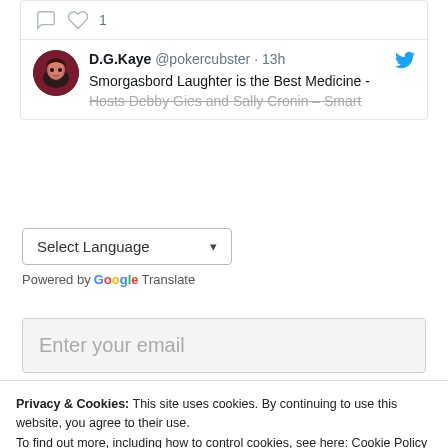[Figure (screenshot): Twitter/social media card showing user D.G.Kaye @pokercubster posting 13h ago about Smorgasbord Laughter is the Best Medicine - Hosts Debby Gies and Sally Cronin - Smart. Shows comment and heart (1) icons at top, avatar and Twitter bird icon.]
Select Language
Powered by Google Translate
Enter your email
Privacy & Cookies: This site uses cookies. By continuing to use this website, you agree to their use.
To find out more, including how to control cookies, see here: Cookie Policy
Close and accept